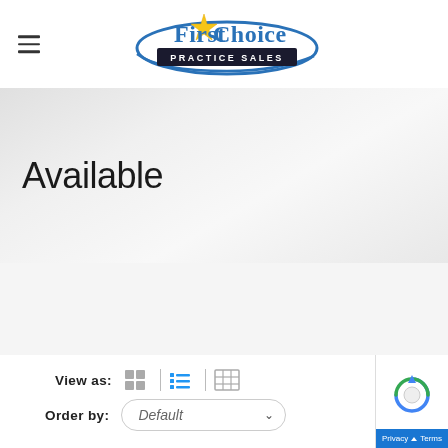[Figure (logo): First Choice Practice Sales logo with blue oval, star, and text]
Available
View as: [grid] | [list] | [table]
Order by: Default